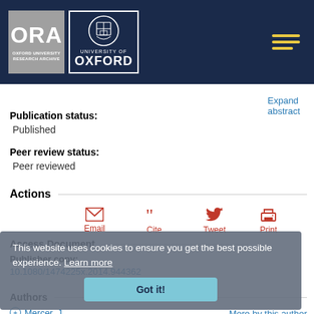[Figure (logo): ORA Oxford University Research Archive logo and University of Oxford logo on dark navy header, with hamburger menu icon]
Expand abstract
Publication status:
Published
Peer review status:
Peer reviewed
Actions
Email
Cite
Tweet
Print
Access Document
Publisher copy:
10.1080/1474225x.2014.944362
This website uses cookies to ensure you get the best possible experience. Learn more
Authors
Mercer, J
More by this author